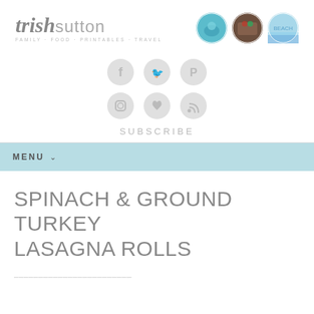[Figure (logo): Trish Sutton blog logo with text 'trishsutton' and tagline 'FAMILY · FOOD · PRINTABLES · TRAVEL' alongside three circular photo thumbnails]
[Figure (infographic): Social media icons grid: Facebook, Twitter, Pinterest (top row), Instagram, Heart/Bloglovin, RSS (bottom row), followed by SUBSCRIBE text]
MENU
SPINACH & GROUND TURKEY LASAGNA ROLLS
Partial text visible at bottom of page